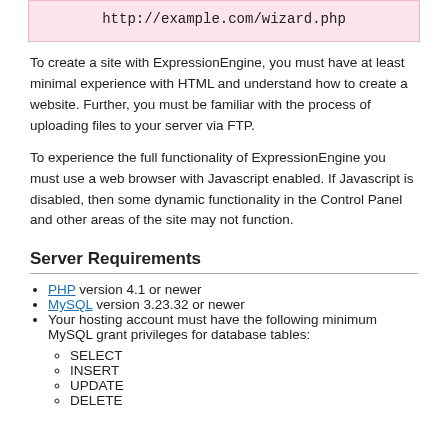http://example.com/wizard.php
To create a site with ExpressionEngine, you must have at least minimal experience with HTML and understand how to create a website. Further, you must be familiar with the process of uploading files to your server via FTP.
To experience the full functionality of ExpressionEngine you must use a web browser with Javascript enabled. If Javascript is disabled, then some dynamic functionality in the Control Panel and other areas of the site may not function.
Server Requirements
PHP version 4.1 or newer
MySQL version 3.23.32 or newer
Your hosting account must have the following minimum MySQL grant privileges for database tables:
SELECT
INSERT
UPDATE
DELETE